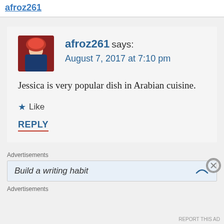afroz261
afroz261 says:
August 7, 2017 at 7:10 pm
Jessica is very popular dish in Arabian cuisine.
★ Like
REPLY
Advertisements
Build a writing habit
Advertisements